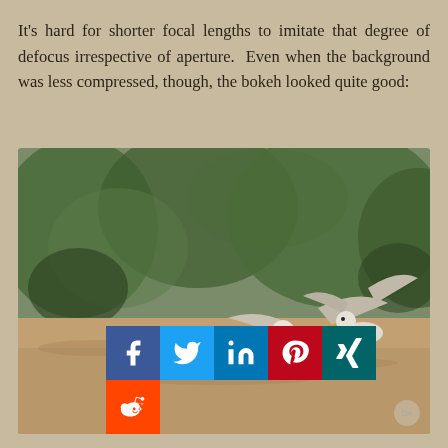It's hard for shorter focal lengths to imitate that degree of defocus irrespective of aperture.  Even when the background was less compressed, though, the bokeh looked quite good:
[Figure (photo): Three seagulls on sandy ground with blurred green tree background (bokeh). Two seagulls appear to be landing or fighting with wings spread, one stands calmly to the left. Social media share buttons (Facebook, Twitter, LinkedIn, Pinterest, Xing, Reddit) overlaid in the bottom-right area of the photo. Small circular watermark in bottom-right corner.]